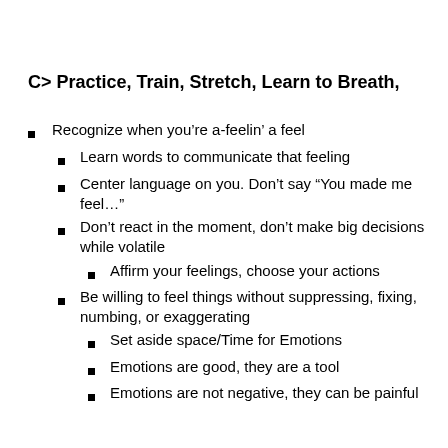C> Practice, Train, Stretch, Learn to Breath,
Recognize when you’re a-feelin’ a feel
Learn words to communicate that feeling
Center language on you. Don’t say “You made me feel…”
Don’t react in the moment, don’t make big decisions while volatile
Affirm your feelings, choose your actions
Be willing to feel things without suppressing, fixing, numbing, or exaggerating
Set aside space/Time for Emotions
Emotions are good, they are a tool
Emotions are not negative, they can be painful